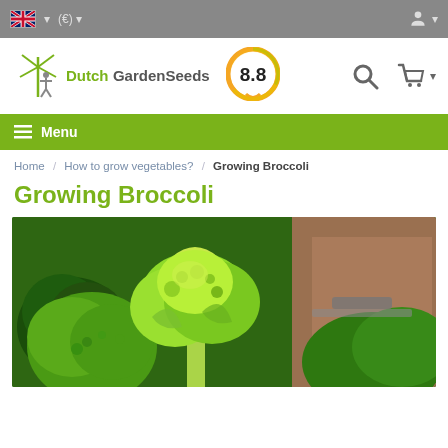Dutch GardenSeeds website header with UK flag, Euro currency, rating 8.8, search and cart icons
Menu
Home / How to grow vegetables? / Growing Broccoli
Growing Broccoli
[Figure (photo): Close-up photo of fresh broccoli florets on a wooden surface]